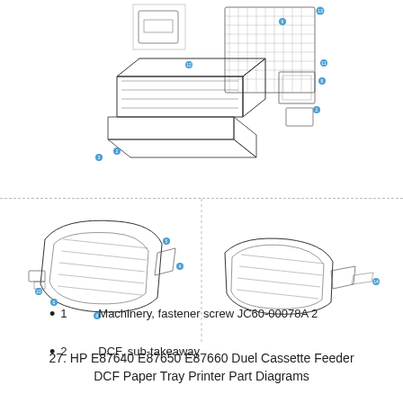[Figure (engineering-diagram): Exploded view diagram of HP E87640 E87650 E87660 Dual Cassette Feeder DCF Paper Tray printer assembly showing numbered parts with callout dots - top portion shows full printer assembly exploded view with numbered components]
[Figure (engineering-diagram): Bottom-left: exploded view of DCF sub-takeaway roller/feeder component with numbered callouts. Bottom-right: exploded view of another sub-assembly component with numbered callouts.]
27. HP E87640 E87650 E87660 Duel Cassette Feeder DCF Paper Tray Printer Part Diagrams
1        Machinery, fastener screw JC60-00078A 2
2        DCF, sub-takeaway